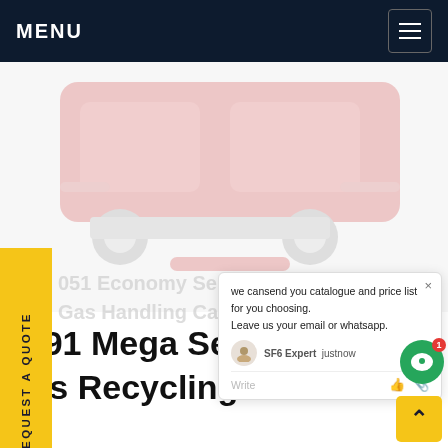MENU
[Figure (photo): Faded product image of SF6 gas handling equipment, red and grey industrial carts]
REQUEST A QUOTE
we cansend you catalogue and price list for you choosing. Leave us your email or whatsapp.
SF6 Expert  justnow
Write
051 Economy Series SF6 Gas Handling Cart
T391 Mega Series SF6 Gas Recycling Unit